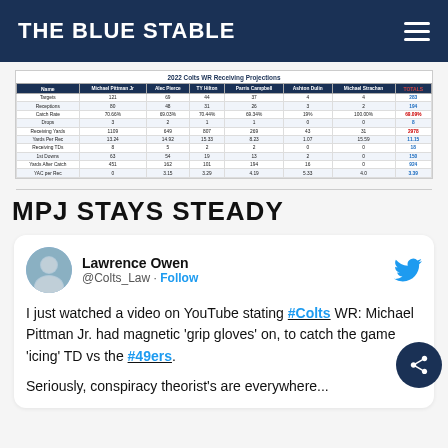THE BLUE STABLE
| Name | Michael Pittman Jr | Alec Pierce | TY Hilton | Parris Campbell | Ashton Dulin | Michael Strachan | TOTALS |
| --- | --- | --- | --- | --- | --- | --- | --- |
| Targets | 121 | 69 | 44 | 37 | 4 | 4 | 283 |
| Receptions | 80 | 48 | 31 | 26 | 3 | 2 | 194 |
| Catch Rate | 70.66% | 69.03% | 70.44% | 69.34% | 19% | 100.00% | 69.09% |
| Drops | 3 | 2 | 1 | 1 | 0 | 0 | 8 |
| Receiving Yards | 1109 | 649 | 807 | 269 | 43 | 31 | 2978 |
| Yards Per Rec | 13.24 | 14.92 | 15.33 | 8.23 | 1.07 | 15.59 | 11.15 |
| Receiving TDs | 8 | 5 | 2 | 2 | 0 | 0 | 18 |
| 1st Downs | 63 | 54 | 19 | 13 | 2 | 0 | 150 |
| Yards After Catch | 451 | 162 | 101 | 194 | 16 | 0 | 924 |
| YAC per Rec | 0 | 3.15 | 3.29 | 4.19 | 5.33 | 4.0 | 3.39 |
MPJ STAYS STEADY
[Figure (screenshot): Embedded tweet from @Colts_Law (Lawrence Owen) saying: I just watched a video on YouTube stating #Colts WR: Michael Pittman Jr. had magnetic 'grip gloves' on, to catch the game 'icing' TD vs the #49ers. Seriously, conspiracy theorist's are everywhere...]